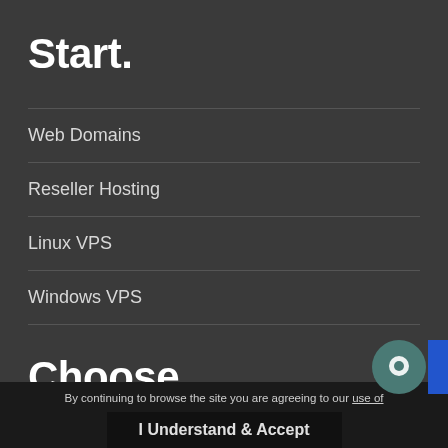Start.
Web Domains
Reseller Hosting
Linux VPS
Windows VPS
Choose.
Managed Servers
Unmanaged Servers
Monitoring Solutions
By continuing to browse the site you are agreeing to our use of
I Understand & Accept